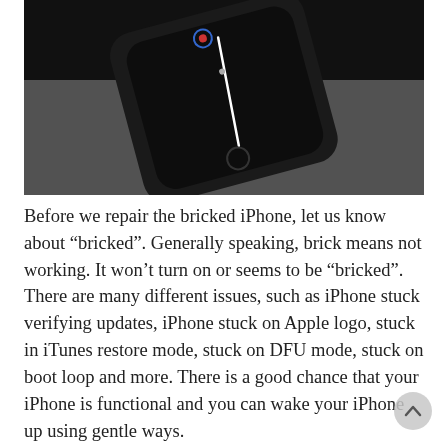[Figure (photo): A black iPhone lying on a white surface, screen showing a white vertical line and small icons, photographed from above at an angle.]
Before we repair the bricked iPhone, let us know about “bricked”. Generally speaking, brick means not working. It won’t turn on or seems to be “bricked”. There are many different issues, such as iPhone stuck verifying updates, iPhone stuck on Apple logo, stuck in iTunes restore mode, stuck on DFU mode, stuck on boot loop and more. There is a good chance that your iPhone is functional and you can wake your iPhone up using gentle ways.
Basic Notice■ Before trying to repair your iPhone, make sure that your iPhone has enough power during the whole process. Having no idea about the remaining power? To ensure the power is on, charge